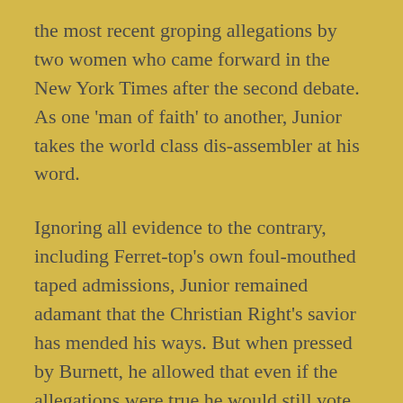the most recent groping allegations by two women who came forward in the New York Times after the second debate. As one 'man of faith' to another, Junior takes the world class dis-assembler at his word.
Ignoring all evidence to the contrary, including Ferret-top's own foul-mouthed taped admissions, Junior remained adamant that the Christian Right's savior has mended his ways. But when pressed by Burnett, he allowed that even if the allegations were true he would still vote for the old orange groper because there are more important things at stake than electing a sexual predator as President.